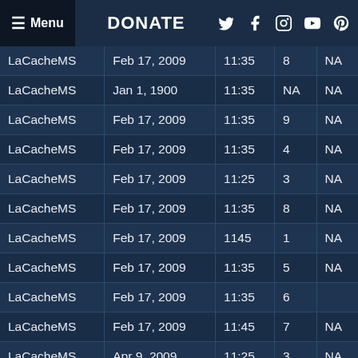Menu | DONATE
| Source | Date | Time | Col4 | Col5 |
| --- | --- | --- | --- | --- |
| LaCacheMS | Feb 17, 2009 | 11:35 | 8 | NA |
| LaCacheMS | Jan 1, 1900 | 11:35 | NA | NA |
| LaCacheMS | Feb 17, 2009 | 11:35 | 9 | NA |
| LaCacheMS | Feb 17, 2009 | 11:35 | 4 | NA |
| LaCacheMS | Feb 17, 2009 | 11:25 | 3 | NA |
| LaCacheMS | Feb 17, 2009 | 11:35 | 8 | NA |
| LaCacheMS | Feb 17, 2009 | 1145 | 1 | NA |
| LaCacheMS | Feb 17, 2009 | 11:35 | 5 | NA |
| LaCacheMS | Feb 17, 2009 | 11:35 | 6 |  |
| LaCacheMS | Feb 17, 2009 | 11:45 | 7 | NA |
| LaCacheMS | Apr 9, 2009 | 11:25 | 3 | NA |
| LaCacheMS | Apr 9, 2009 | 11:25 | 8 | NA |
| LaCacheMS | Apr 9, 2009 | 11:25 | 4 | NA |
| LaCacheMS | Mar 9, 2009 | 11:25 | NA | NA |
| LaCacheMS | Apr 9, 2009 |  | NA | NA |
| LaCacheMS | Apr 9, 2009 | 11:25 | 3 | NA |